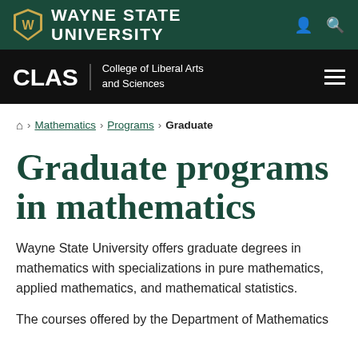Wayne State University
CLAS | College of Liberal Arts and Sciences
🏠 › Mathematics › Programs › Graduate
Graduate programs in mathematics
Wayne State University offers graduate degrees in mathematics with specializations in pure mathematics, applied mathematics, and mathematical statistics.
The courses offered by the Department of Mathematics